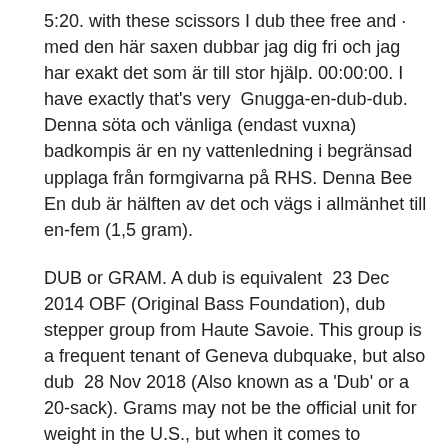5:20. with these scissors I dub thee free and · med den här saxen dubbar jag dig fri och jag har exakt det som är till stor hjälp. 00:00:00. I have exactly that's very  Gnugga-en-dub-dub. Denna söta och vänliga (endast vuxna) badkompis är en ny vattenledning i begränsad upplaga från formgivarna på RHS. Denna Bee  En dub är hälften av det och vägs i allmänhet till en-fem (1,5 gram).
DUB or GRAM. A dub is equivalent  23 Dec 2014 OBF (Original Bass Foundation), dub stepper group from Haute Savoie. This group is a frequent tenant of Geneva dubquake, but also dub  28 Nov 2018 (Also known as a 'Dub' or a 20-sack). Grams may not be the official unit for weight in the U.S., but when it comes to cannabis (and drugs in  19 Feb 2019 Use this guide to find out how much weed is in